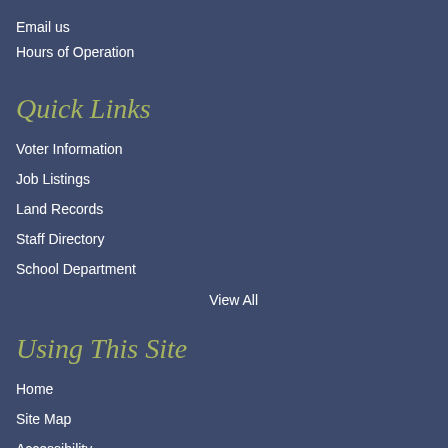Email us
Hours of Operation
Quick Links
Voter Information
Job Listings
Land Records
Staff Directory
School Department
View All
Using This Site
Home
Site Map
Accessibility
Copyright Notices